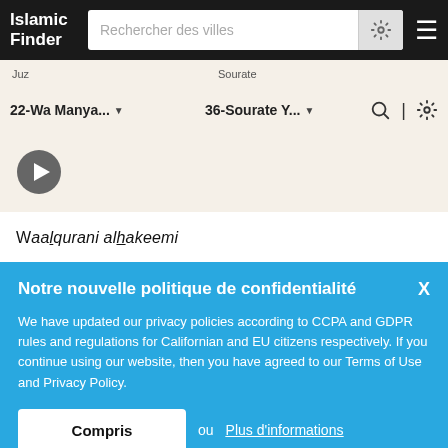Islamic Finder | Rechercher des villes
Juz · Sourate
22-Wa Manya... · 36-Sourate Y...
[Figure (screenshot): Play button icon]
Waalqurani alhakeemi
Notre nouvelle politique de confidentialité
We have updated our privacy policies according to CCPA and GDPR rules and regulations for Californian and EU citizens respectively. If you continue using our website, then you have agreed to our Terms of Use and Privacy Policy.
Compris ou Plus d'informations